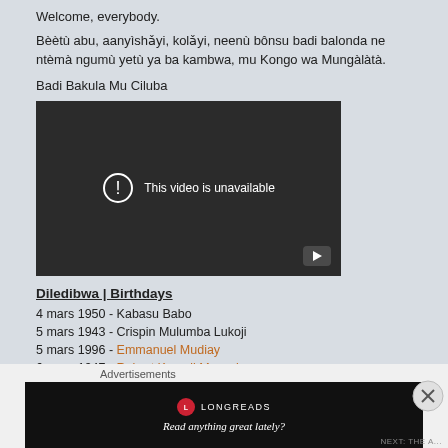Welcome, everybody.
Bèètù abu, aanyìshǎyi, kolǎyi, neenù bônsu badi balonda ne ntèmà ngumù yetù ya ba kambwa, mu Kongo wa Mungàlàtà.
Badi Bakula Mu Ciluba
[Figure (screenshot): Embedded video player showing 'This video is unavailable' message with a play button in the bottom right corner. Dark background with white text and a circle exclamation icon.]
Diledibwa | Birthdays
4 mars 1950 - Kabasu Babo
5 mars 1943 - Crispin Mulumba Lukoji
5 mars 1996 - Emmanuel Mudiay
6 mars 1947 - Robert Kazadi Mwamba
7 mars 1980 - Patrick Mutombo
Advertisements
[Figure (other): Longreads advertisement banner with black background, red circular logo, LONGREADS text, and tagline 'Read anything great lately?']